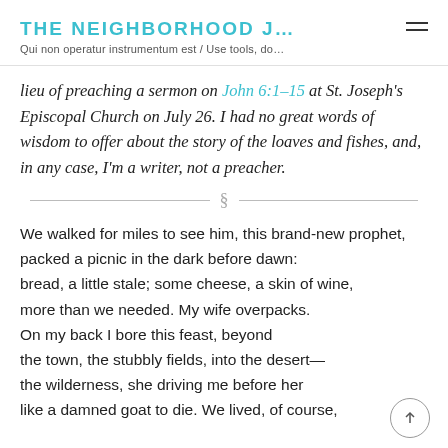THE NEIGHBORHOOD J...
Qui non operatur instrumentum est / Use tools, do…
lieu of preaching a sermon on John 6:1–15 at St. Joseph's Episcopal Church on July 26. I had no great words of wisdom to offer about the story of the loaves and fishes, and, in any case, I'm a writer, not a preacher.
§
We walked for miles to see him, this brand-new prophet,
packed a picnic in the dark before dawn:
bread, a little stale; some cheese, a skin of wine,
more than we needed. My wife overpacks.
On my back I bore this feast, beyond
the town, the stubbly fields, into the desert—
the wilderness, she driving me before her
like a damned goat to die. We lived, of course,